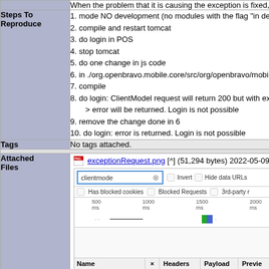When the problem that it is causing the exception is fixed, as returning the Exception
|  |  |
| --- | --- |
| Steps To Reproduce | 1. mode NO development (no modules with the flag "in devel"
2. compile and restart tomcat
3. do login in POS
4. stop tomcat
5. do one change in js code
6. in ./org.openbravo.mobile.core/src/org/openbravo/mobile/c
7. compile
8. do login: ClientModel request will return 200 but with excep
   > error will be returned. Login is not possible
9. remove the change done in 6
10. do login: error is returned. Login is not possible |
| Tags | No tags attached. |
| Attached Files | exceptionRequest.png [^] (51,294 bytes) 2022-05-09 14:2... |
[Figure (screenshot): Browser developer tools screenshot showing network request filter with 'clientmode' search term, timeline with bars around 1500ms mark, and a table with columns Name, X, Headers, Payload, Preview showing a blue highlighted row]